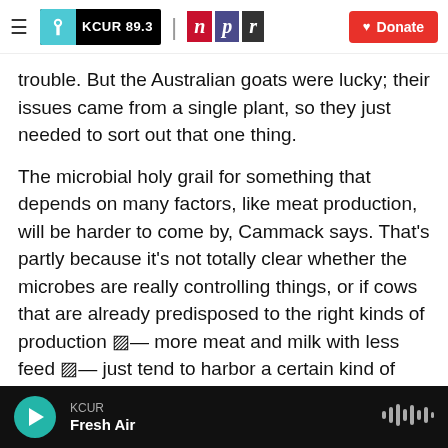KCUR 89.3 | npr | Donate
trouble. But the Australian goats were lucky; their issues came from a single plant, so they just needed to sort out that one thing.
The microbial holy grail for something that depends on many factors, like meat production, will be harder to come by, Cammack says. That's partly because it's not totally clear whether the microbes are really controlling things, or if cows that are already predisposed to the right kinds of production — more meat and milk with less feed — just tend to harbor a certain kind of microbe. It's probably a mix of both.
KCUR Fresh Air